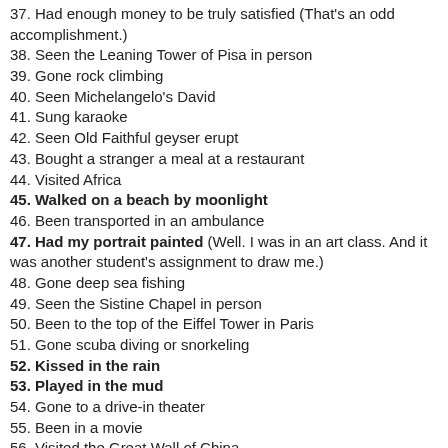37. Had enough money to be truly satisfied (That's an odd accomplishment.)
38. Seen the Leaning Tower of Pisa in person
39. Gone rock climbing
40. Seen Michelangelo's David
41. Sung karaoke
42. Seen Old Faithful geyser erupt
43. Bought a stranger a meal at a restaurant
44. Visited Africa
45. Walked on a beach by moonlight
46. Been transported in an ambulance
47. Had my portrait painted (Well. I was in an art class. And it was another student's assignment to draw me.)
48. Gone deep sea fishing
49. Seen the Sistine Chapel in person
50. Been to the top of the Eiffel Tower in Paris
51. Gone scuba diving or snorkeling
52. Kissed in the rain
53. Played in the mud
54. Gone to a drive-in theater
55. Been in a movie
56. Visited the Great Wall of China